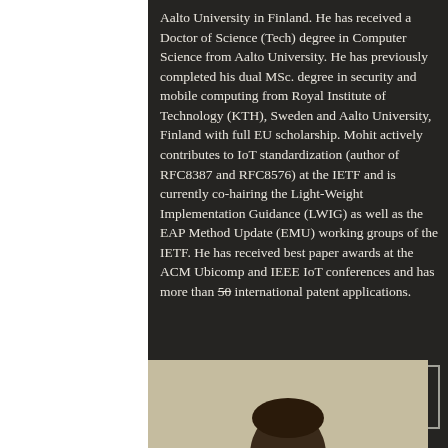Aalto University in Finland. He has received a Doctor of Science (Tech) degree in Computer Science from Aalto University. He has previously completed his dual MSc. degree in security and mobile computing from Royal Institute of Technology (KTH), Sweden and Aalto University, Finland with full EU scholarship. Mohit actively contributes to IoT standardization (author of RFC8387 and RFC8576) at the IETF and is currently co-chairing the Light-Weight Implementation Guidance (LWIG) as well as the EAP Method Update (EMU) working groups of the IETF. He has received best paper awards at the ACM Ubicomp and IEEE IoT conferences and has more than 50 international patent applications.
[Figure (photo): Portrait photo of a person, showing head and shoulders, with dark hair, visible at the bottom of the page against a beige/tan background.]